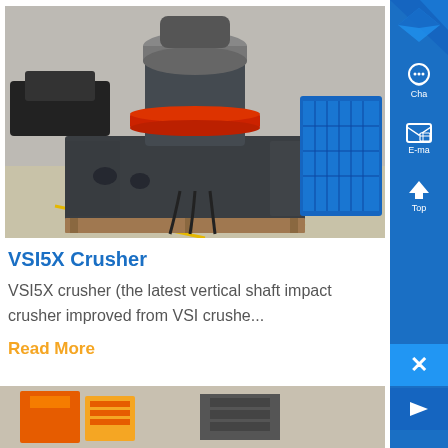[Figure (photo): VSI5X Crusher industrial machine in a factory setting. Large dark gray crusher with red ring detail at the top, sitting on wooden pallets on a factory floor. Blue industrial equipment visible in the background right.]
VSI5X Crusher
VSI5X crusher (the latest vertical shaft impact crusher improved from VSI crushe...
Read More
[Figure (photo): Bottom strip showing another industrial machine with orange/yellow and gray colors in a factory setting.]